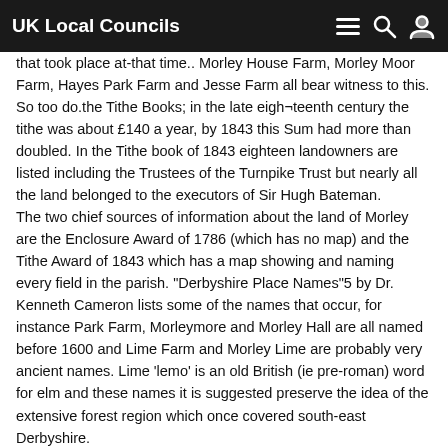UK Local Councils
that took place at-that time.. Morley House Farm, Morley Moor Farm, Hayes Park Farm and Jesse Farm all bear witness to this. So too do.the Tithe Books; in the late eigh¬teenth century the tithe was about £140 a year, by 1843 this Sum had more than doubled. In the Tithe book of 1843 eighteen landowners are listed including the Trustees of the Turnpike Trust but nearly all the land belonged to the executors of Sir Hugh Bateman.
The two chief sources of information about the land of Morley are the Enclosure Award of 1786 (which has no map) and the Tithe Award of 1843 which has a map showing and naming every field in the parish. "Derbyshire Place Names"5 by Dr. Kenneth Cameron lists some of the names that occur, for instance Park Farm, Morleymore and Morley Hall are all named before 1600 and Lime Farm and Morley Lime are probably very ancient names. Lime 'lemo' is an old British (ie pre-roman) word for elm and these names it is suggested preserve the idea of the extensive forest region which once covered south-east Derbyshire.